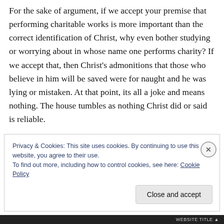For the sake of argument, if we accept your premise that performing charitable works is more important than the correct identification of Christ, why even bother studying or worrying about in whose name one performs charity? If we accept that, then Christ's admonitions that those who believe in him will be saved were for naught and he was lying or mistaken. At that point, its all a joke and means nothing. The house tumbles as nothing Christ did or said is reliable.
Privacy & Cookies: This site uses cookies. By continuing to use this website, you agree to their use.
To find out more, including how to control cookies, see here: Cookie Policy
Close and accept
WEBSITE TITLE ▲